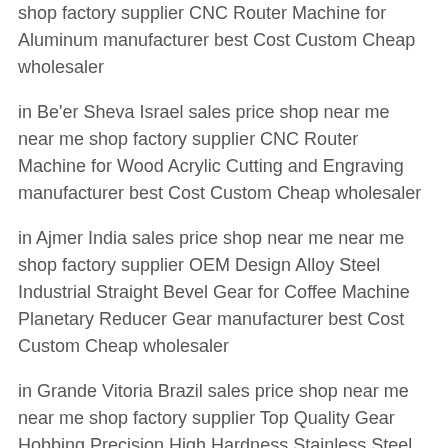shop factory supplier CNC Router Machine for Aluminum manufacturer best Cost Custom Cheap wholesaler
in Be'er Sheva Israel sales price shop near me near me shop factory supplier CNC Router Machine for Wood Acrylic Cutting and Engraving manufacturer best Cost Custom Cheap wholesaler
in Ajmer India sales price shop near me near me shop factory supplier OEM Design Alloy Steel Industrial Straight Bevel Gear for Coffee Machine Planetary Reducer Gear manufacturer best Cost Custom Cheap wholesaler
in Grande Vitoria Brazil sales price shop near me near me shop factory supplier Top Quality Gear Hobbing Precision High Hardness Stainless Steel Differential Bevel Gear manufacturer best Cost Custom Cheap wholesaler
in Naples Italy sales price shop near me near me